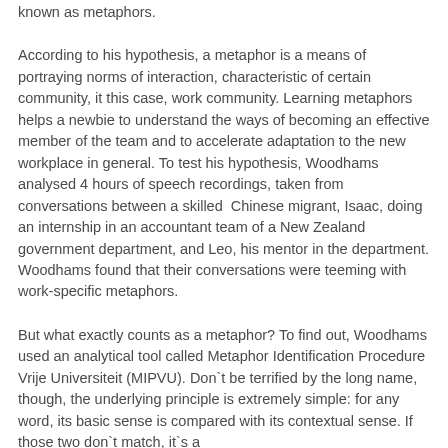known as metaphors.
According to his hypothesis, a metaphor is a means of portraying norms of interaction, characteristic of certain community, it this case, work community. Learning metaphors helps a newbie to understand the ways of becoming an effective member of the team and to accelerate adaptation to the new workplace in general. To test his hypothesis, Woodhams analysed 4 hours of speech recordings, taken from conversations between a skilled Chinese migrant, Isaac, doing an internship in an accountant team of a New Zealand government department, and Leo, his mentor in the department. Woodhams found that their conversations were teeming with work-specific metaphors.
But what exactly counts as a metaphor? To find out, Woodhams used an analytical tool called Metaphor Identification Procedure Vrije Universiteit (MIPVU). Don`t be terrified by the long name, though, the underlying principle is extremely simple: for any word, its basic sense is compared with its contextual sense. If those two don`t match, it`s a